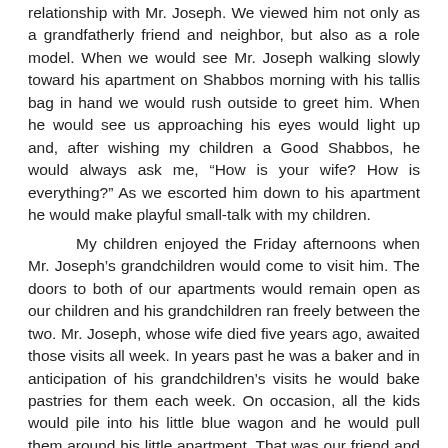relationship with Mr. Joseph. We viewed him not only as a grandfatherly friend and neighbor, but also as a role model. When we would see Mr. Joseph walking slowly toward his apartment on Shabbos morning with his tallis bag in hand we would rush outside to greet him. When he would see us approaching his eyes would light up and, after wishing my children a Good Shabbos, he would always ask me, “How is your wife? How is everything?” As we escorted him down to his apartment he would make playful small-talk with my children.

My children enjoyed the Friday afternoons when Mr. Joseph’s grandchildren would come to visit him. The doors to both of our apartments would remain open as our children and his grandchildren ran freely between the two. Mr. Joseph, whose wife died five years ago, awaited those visits all week. In years past he was a baker and in anticipation of his grandchildren’s visits he would bake pastries for them each week. On occasion, all the kids would pile into his little blue wagon and he would pull them around his little apartment. That was our friend and neighbor, Mr. Joseph.

There was another aspect of Mr. Joseph however, that my wife and I realized that our children couldn’t appreciate. Mr. Joseph was a principled man if ever